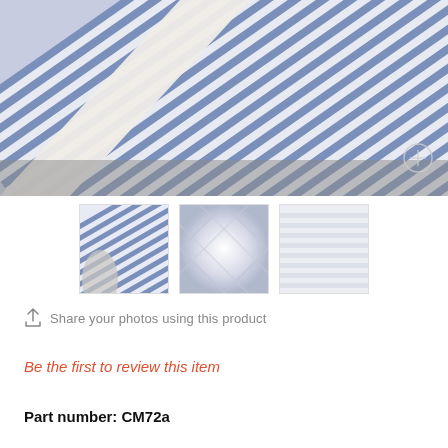[Figure (photo): Close-up photo of blue and white striped fabric rolls]
[Figure (photo): Thumbnail 1: blue striped fabric close-up]
[Figure (photo): Thumbnail 2: white/silver twisted fabric close-up]
[Figure (photo): Thumbnail 3: white striped fabric close-up]
Share your photos using this product
Be the first to review this item
Part number: CM72a